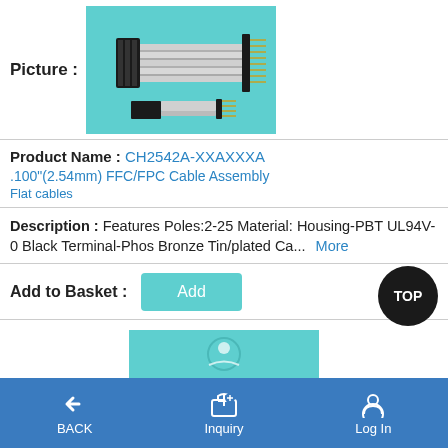[Figure (photo): Product photo showing FFC/FPC cable assembly components on a teal background]
Product Name : CH2542A-XXAXXXA .100"(2.54mm) FFC/FPC Cable Assembly Flat cables
Description : Features Poles:2-25 Material: Housing-PBT UL94V-0 Black Terminal-Phos Bronze Tin/plated Ca... More
Add to Basket : Add
BACK  Inquiry  Log In